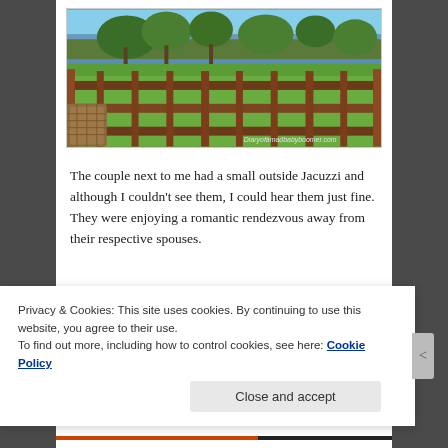[Figure (photo): View from a wooden deck/balcony with dark brown railing overlooking a green lawn, trees, and a river or lake in the background. A wicker chair is visible at lower left. Watermark reads 'Diaryofamadbabyboomer.com'.]
The couple next to me had a small outside Jacuzzi and although I couldn't see them, I could hear them just fine. They were enjoying a romantic rendezvous away from their respective spouses.
Privacy & Cookies: This site uses cookies. By continuing to use this website, you agree to their use.
To find out more, including how to control cookies, see here: Cookie Policy